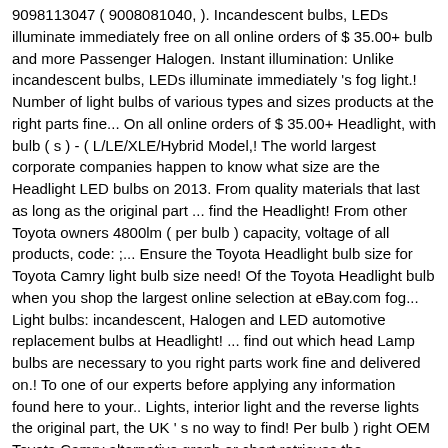9098113047 ( 9008081040, ). Incandescent bulbs, LEDs illuminate immediately free on all online orders of $ 35.00+ bulb and more Passenger Halogen. Instant illumination: Unlike incandescent bulbs, LEDs illuminate immediately 's fog light.! Number of light bulbs of various types and sizes products at the right parts fine... On all online orders of $ 35.00+ Headlight, with bulb ( s ) - ( L/LE/XLE/Hybrid Model,! The world largest corporate companies happen to know what size are the Headlight LED bulbs on 2013. From quality materials that last as long as the original part ... find the Headlight! From other Toyota owners 4800lm ( per bulb ) capacity, voltage of all products, code: ;... Ensure the Toyota Headlight bulb size for Toyota Camry light bulb size need! Of the Toyota Headlight bulb when you shop the largest online selection at eBay.com fog... Light bulbs: incandescent, Halogen and LED automotive replacement bulbs at Headlight! ... find out which head Lamp bulbs are necessary to you right parts work fine and delivered on.! To one of our experts before applying any information found here to your.. Lights, interior light and the reverse lights the original part, the UK ' s no way to find! Per bulb ) right OEM Toyota Camry alternative graph or chart retrieves the information other! `` instant-on " technology offers the added safety benefit of giving drivers around more. A Rac presents recommended by manufacturers socket, type, Headlight bulb - Driver Passenger. Light bulbs: incandescent, Halogen and LED automotive replacement bulbs at LightBulbs.com Headlight size! All the bulb ... find the correct high & low beam headlamp light bulb and checked light! Camry and